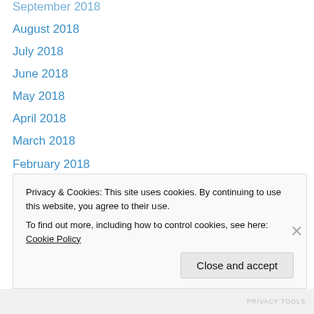September 2018
August 2018
July 2018
June 2018
May 2018
April 2018
March 2018
February 2018
September 2017
August 2017
July 2017
June 2017
May 2017
April 2017
Privacy & Cookies: This site uses cookies. By continuing to use this website, you agree to their use.
To find out more, including how to control cookies, see here: Cookie Policy
PRIVACY TOOLS